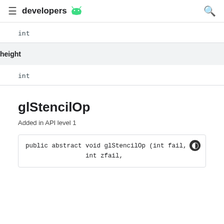developers
int
height
int
glStencilOp
Added in API level 1
public abstract void glStencilOp (int fail,
                int zfail,